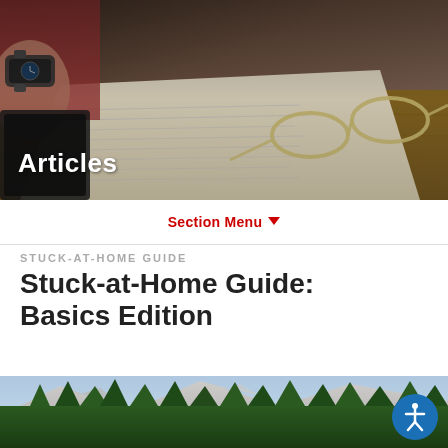[Figure (photo): Close-up photo of a man's hand with a watch resting on an open newspaper/document with glasses resting on top, on a wooden table. Banner/hero image.]
Articles
Section Menu ▾
STUCK-AT-HOME GUIDE
Stuck-at-Home Guide: Basics Edition
[Figure (photo): Outdoor mountain landscape photo showing tall pine trees in foreground with rocky mountains in the background, partially visible at bottom of page.]